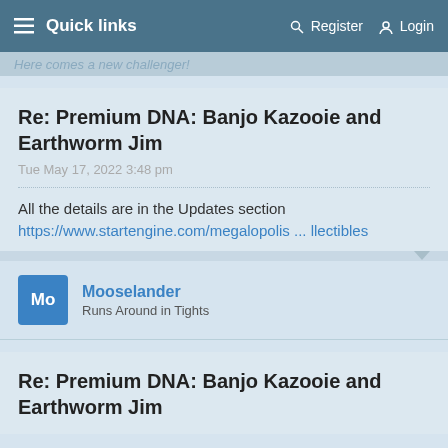Quick links   Register   Login
Here comes a new challenger!
Re: Premium DNA: Banjo Kazooie and Earthworm Jim
Tue May 17, 2022 3:48 pm
All the details are in the Updates section
https://www.startengine.com/megalopolis ... llectibles
Mooselander
Runs Around in Tights
Re: Premium DNA: Banjo Kazooie and Earthworm Jim